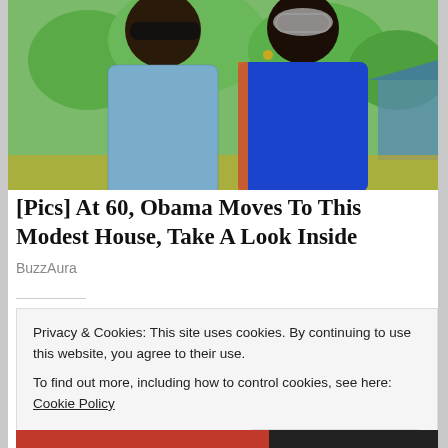[Figure (photo): Photo of two people wearing sunglasses outdoors with green trees in background]
[Pics] At 60, Obama Moves To This Modest House, Take A Look Inside
BuzzAura
Privacy & Cookies: This site uses cookies. By continuing to use this website, you agree to their use.
To find out more, including how to control cookies, see here: Cookie Policy